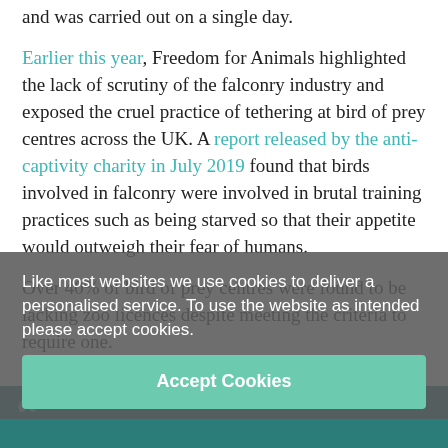and was carried out on a single day.
Earlier this year, Freedom for Animals highlighted the lack of scrutiny of the falconry industry and exposed the cruel practice of tethering at bird of prey centres across the UK. A report released by the anti-captivity charity in July 2019 found that birds involved in falconry were involved in brutal training practices such as being starved so that their appetite would outweigh their fear of humans.
Over 40% of bird of prey centres were found to be lacking zoo licences despite meeting the criteria to require one.
Sam Threadgill, Director of Freedom for Animals said;
Like most websites we use cookies to deliver a personalised service. To use the website as intended please accept cookies.
Accept Cookies